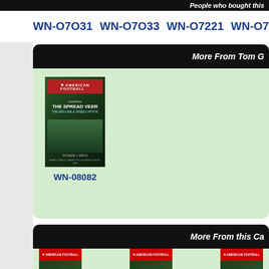People who bought this
WN-O7O31  WN-O7O33  WN-O7221  WN-O7222  WN-O7141  WN-...
More From Tom G
[Figure (photo): Book cover: The Spread Veer - The Mid-Line & Speed Option]
WN-08082
[Figure (photo): Book cover: The Spread Veer - The Vertical Passing Game]
WN-08083
More From this Ca
Buy Now Watch Now
[Figure (photo): Book cover: Bomber 3-3-5 Defending the Spread]
[Figure (photo): Book cover: Bomber 3-3-5 Blitzes]
[Figure (photo): Book cover: Bomber 3-3-5 Coverages]